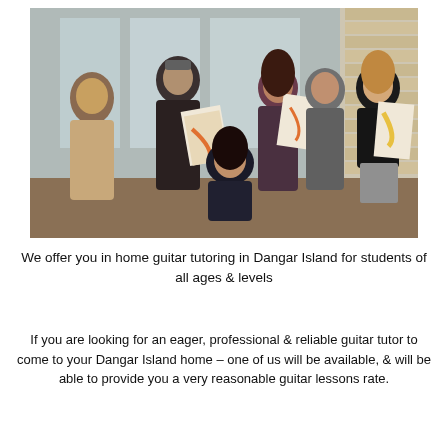[Figure (photo): Group photo of six young people standing and sitting together indoors near windows, several holding notebooks or folders with a yellow/orange design.]
We offer you in home guitar tutoring in Dangar Island for students of all ages & levels
If you are looking for an eager, professional & reliable guitar tutor to come to your Dangar Island home – one of us will be available, & will be able to provide you a very reasonable guitar lessons rate.